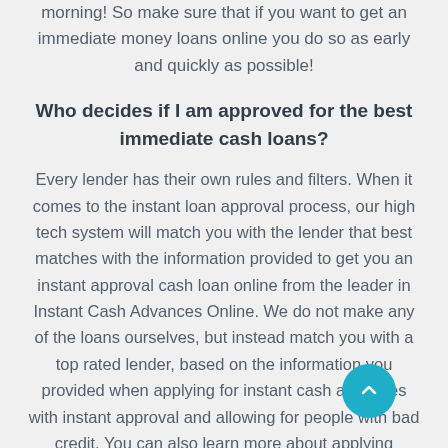morning! So make sure that if you want to get an immediate money loans online you do so as early and quickly as possible!
Who decides if I am approved for the best immediate cash loans?
Every lender has their own rules and filters. When it comes to the instant loan approval process, our high tech system will match you with the lender that best matches with the information provided to get you an instant approval cash loan online from the leader in Instant Cash Advances Online. We do not make any of the loans ourselves, but instead match you with a top rated lender, based on the information you provided when applying for instant cash advances with instant approval and allowing for people with bad credit. You can also learn more about applying